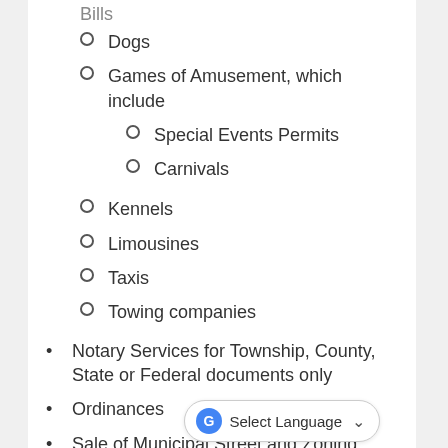Dogs
Games of Amusement, which include
Special Events Permits
Carnivals
Kennels
Limousines
Taxis
Towing companies
Notary Services for Township, County, State or Federal documents only
Ordinances
Sale of Municipal Street and Zoning Maps
Voter Registration